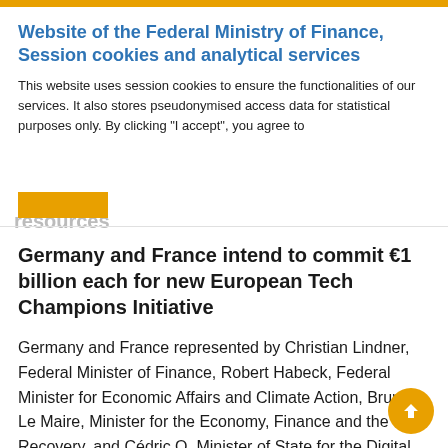Website of the Federal Ministry of Finance, Session cookies and analytical services
This website uses session cookies to ensure the functionalities of our services. It also stores pseudonymised access data for statistical purposes only. By clicking "I accept", you agree to
Germany and France intend to commit €1 billion each for new European Tech Champions Initiative
Germany and France represented by Christian Lindner, Federal Minister of Finance, Robert Habeck, Federal Minister for Economic Affairs and Climate Action, Bruno Le Maire, Minister for the Economy, Finance and the Recovery, and Cédric O, Minister of State for the Digital Transition and